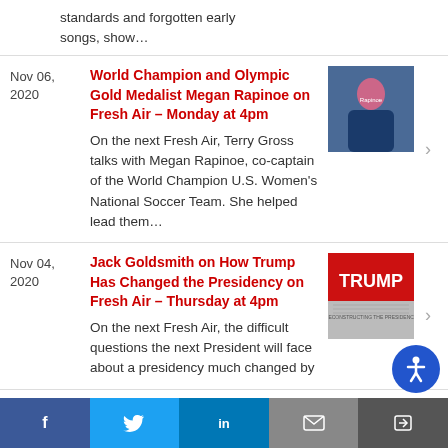standards and forgotten early songs, show…
Nov 06, 2020 — World Champion and Olympic Gold Medalist Megan Rapinoe on Fresh Air – Monday at 4pm. On the next Fresh Air, Terry Gross talks with Megan Rapinoe, co-captain of the World Champion U.S. Women's National Soccer Team. She helped lead them…
Nov 04, 2020 — Jack Goldsmith on How Trump Has Changed the Presidency on Fresh Air – Thursday at 4pm. On the next Fresh Air, the difficult questions the next President will face about a presidency much changed by…
f  t  in  [email]  [share]